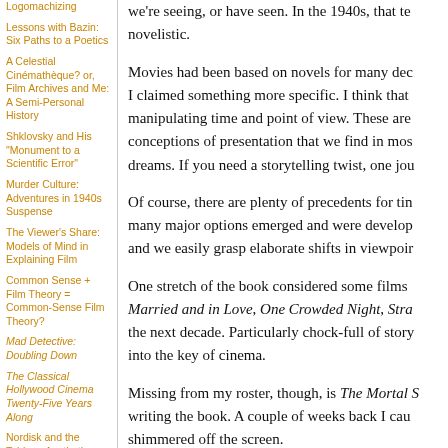Logomachizing
Lessons with Bazin: Six Paths to a Poetics
A Celestial Cinémathèque? or, Film Archives and Me: A Semi-Personal History
Shklovsky and His "Monument to a Scientific Error"
Murder Culture: Adventures in 1940s Suspense
The Viewer's Share: Models of Mind in Explaining Film
Common Sense + Film Theory = Common-Sense Film Theory?
Mad Detective: Doubling Down
The Classical Hollywood Cinema Twenty-Five Years Along
Nordisk and the Tableau Aesthetic
William Cameron Menzies: One Forceful, Impressive Idea
Another Shaw Production:
we're seeing, or have seen. In the 1940s, that te novelistic.
Movies had been based on novels for many dec I claimed something more specific. I think that manipulating time and point of view. These are conceptions of presentation that we find in mos dreams. If you need a storytelling twist, one jou
Of course, there are plenty of precedents for tin many major options emerged and were develop and we easily grasp elaborate shifts in viewpoir
One stretch of the book considered some films Married and in Love, One Crowded Night, Stra the next decade. Particularly chock-full of story into the key of cinema.
Missing from my roster, though, is The Mortal S writing the book. A couple of weeks back I cau shimmered off the screen.